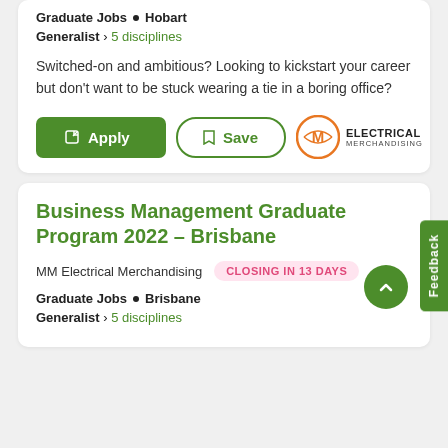Graduate Jobs • Hobart
Generalist › 5 disciplines
Switched-on and ambitious? Looking to kickstart your career but don't want to be stuck wearing a tie in a boring office?
[Figure (screenshot): Apply button (green filled), Save button (green outline), MM Electrical Merchandising logo]
Business Management Graduate Program 2022 - Brisbane
MM Electrical Merchandising   CLOSING IN 13 DAYS
Graduate Jobs • Brisbane
Generalist › 5 disciplines